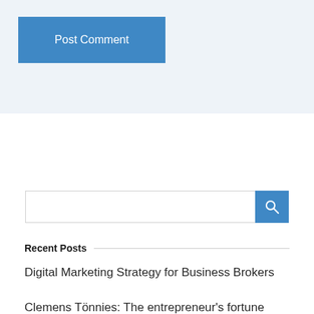Post Comment
[Figure (screenshot): Search input field with blue search button containing a magnifying glass icon]
Recent Posts
Digital Marketing Strategy for Business Brokers
Clemens Tönnies: The entrepreneur's fortune